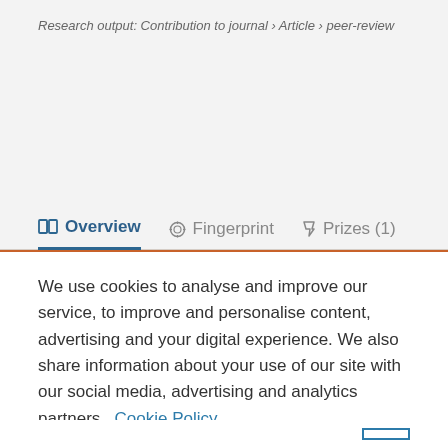Research output: Contribution to journal › Article › peer-review
Overview   Fingerprint   Prizes (1)
We use cookies to analyse and improve our service, to improve and personalise content, advertising and your digital experience. We also share information about your use of our site with our social media, advertising and analytics partners.  Cookie Policy